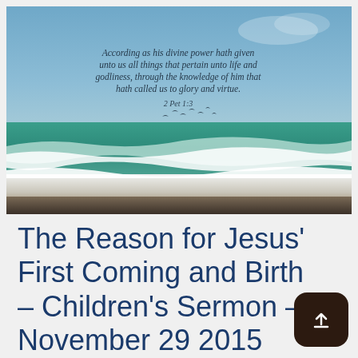[Figure (photo): Ocean beach scene with turquoise waves and dark sandy shore. Italic scripture text overlay reads: 'According as his divine power hath given unto us all things that pertain unto life and godliness, through the knowledge of him that hath called us to glory and virtue. 2 Pet 1:3' with silhouettes of birds in flight below.]
The Reason for Jesus' First Coming and Birth – Children's Sermon – November 29 2015